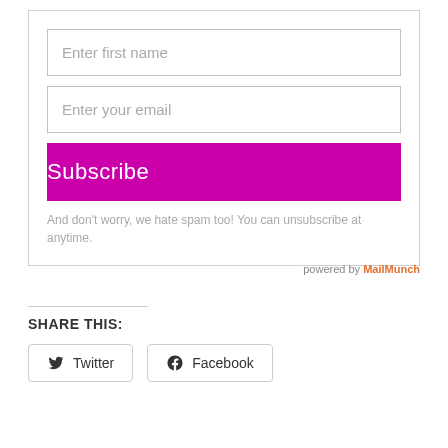[Figure (screenshot): Email subscription form with 'Enter first name' and 'Enter your email' input fields, a magenta/purple Subscribe button, and a spam disclaimer note.]
And don't worry, we hate spam too! You can unsubscribe at anytime.
powered by MailMunch
SHARE THIS:
Twitter
Facebook